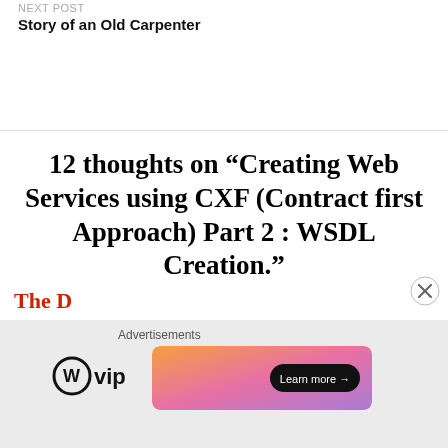NEXT POST
Story of an Old Carpenter
12 thoughts on “Creating Web Services using CXF (Contract first Approach) Part 2 : WSDL Creation.”
The D...
[Figure (other): Advertisement bar with WordPress VIP logo and a colorful gradient banner with Learn more button and close (X) button]